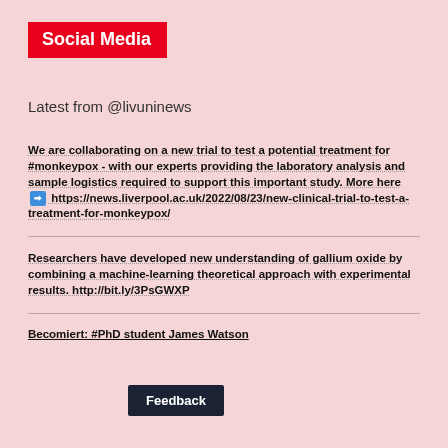Social Media
Latest from @livuninews
We are collaborating on a new trial to test a potential treatment for #monkeypox - with our experts providing the laboratory analysis and sample logistics required to support this important study. More here ➡ https://news.liverpool.ac.uk/2022/08/23/new-clinical-trial-to-test-a-treatment-for-monkeypox/
Researchers have developed new understanding of gallium oxide by combining a machine-learning theoretical approach with experimental results. http://bit.ly/3PsGWXP
Becoming an expert: #PhD student James Watson